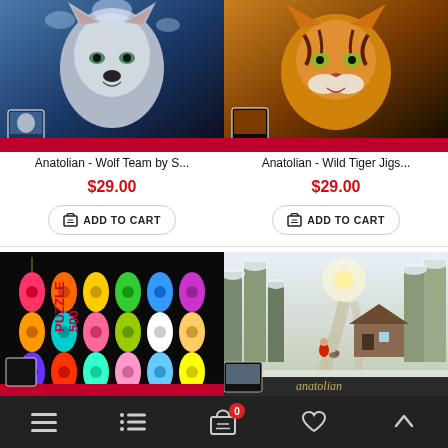[Figure (photo): Puzzle box showing a wolf in a snowy/icy scene with blue tones]
[Figure (photo): Puzzle box showing a wild tiger with orange/dark background]
Anatolian - Wolf Team by S...
Anatolian - Wild Tiger Jigs...
$29.00
$29.00
ADD TO CART
ADD TO CART
[Figure (photo): Puzzle box showing colorful guitars on a black background with text PUZZLE 500]
[Figure (photo): Puzzle box showing a winter scene with snowy forest, cabin and person in red coat, Anatolian brand]
Navigation bar with menu, list, cart (0), heart, and up arrow icons